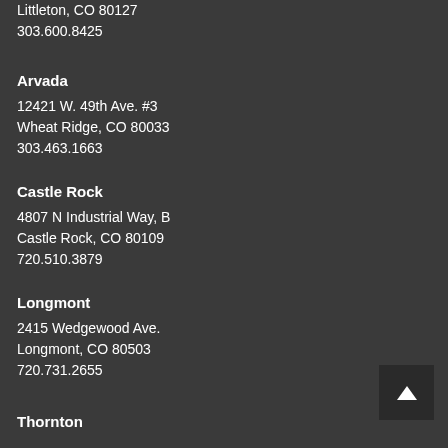Littleton, CO 80127
303.600.8425
Arvada
12421 W. 49th Ave. #3
Wheat Ridge, CO 80033
303.463.1663
Castle Rock
4807 N Industrial Way, B
Castle Rock, CO 80109
720.510.3879
Longmont
2415 Wedgewood Ave.
Longmont, CO 80503
720.731.2655
Thornton